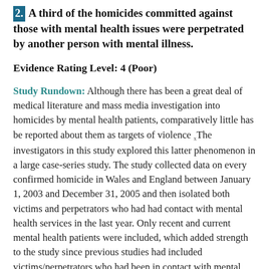2. A third of the homicides committed against those with mental health issues were perpetrated by another person with mental illness.
Evidence Rating Level: 4 (Poor)
Study Rundown: Although there has been a great deal of medical literature and mass media investigation into homicides by mental health patients, comparatively little has be reported about them as targets of violence. The investigators in this study explored this latter phenomenon in a large case-series study. The study collected data on every confirmed homicide in Wales and England between January 1, 2003 and December 31, 2005 and then isolated both victims and perpetrators who had had contact with mental health services in the last year. Only recent and current mental health patients were included, which added strength to the study since previous studies had included victims/perpetrators who had been in contact with mental health